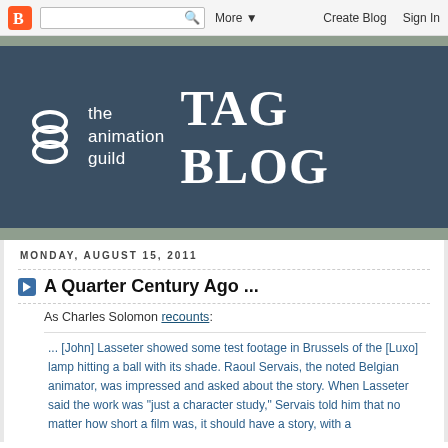Blogger nav bar with search, More, Create Blog, Sign In
[Figure (logo): The Animation Guild logo with stacked ring icon and TAG BLOG text on dark blue-grey banner]
MONDAY, AUGUST 15, 2011
A Quarter Century Ago ...
As Charles Solomon recounts:
... [John] Lasseter showed some test footage in Brussels of the [Luxo] lamp hitting a ball with its shade. Raoul Servais, the noted Belgian animator, was impressed and asked about the story. When Lasseter said the work was "just a character study," Servais told him that no matter how short a film was, it should have a story, with a